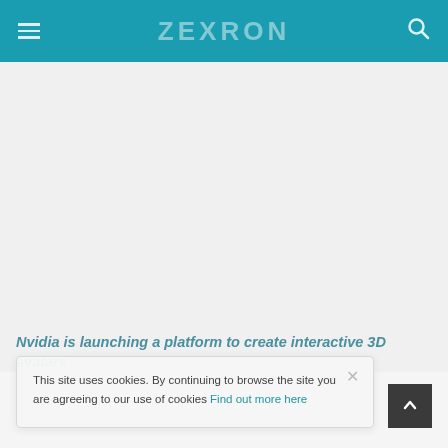ZEXRON
[Figure (screenshot): Blank/white content area below the navigation bar, representing a webpage with no visible content loaded]
Nvidia is launching a platform to create interactive 3D avatars
This site uses cookies. By continuing to browse the site you are agreeing to our use of cookies Find out more here